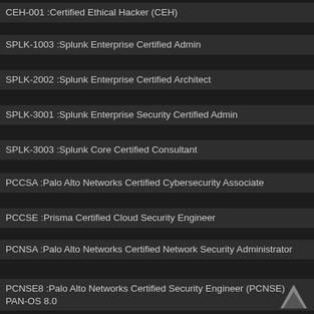CEH-001 :Certified Ethical Hacker (CEH)
SPLK-1003 :Splunk Enterprise Certified Admin
SPLK-2002 :Splunk Enterprise Certified Architect
SPLK-3001 :Splunk Enterprise Security Certified Admin
SPLK-3003 :Splunk Core Certified Consultant
PCCSA :Palo Alto Networks Certified Cybersecurity Associate
PCCSE :Prisma Certified Cloud Security Engineer
PCNSA :Palo Alto Networks Certified Network Security Administrator
PCNSE8 :Palo Alto Networks Certified Security Engineer (PCNSE) PAN-OS 8.0